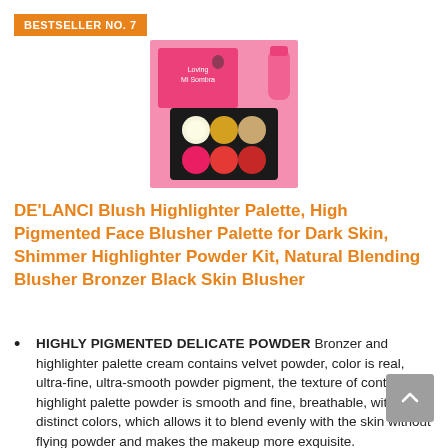BESTSELLER NO. 7
[Figure (photo): Product photo of DE'LANCI Blush Highlighter Palette showing a 6-pan makeup palette with shimmer and blush colors against a pink background]
DE'LANCI Blush Highlighter Palette, High Pigmented Face Blusher Palette for Dark Skin, Shimmer Highlighter Powder Kit, Natural Blending Blusher Bronzer Black Skin Blusher
HIGHLY PIGMENTED DELICATE POWDER Bronzer and highlighter palette cream contains velvet powder, color is real, ultra-fine, ultra-smooth powder pigment, the texture of contour and highlight palette powder is smooth and fine, breathable, with distinct colors, which allows it to blend evenly with the skin without flying powder and makes the makeup more exquisite.
NATURAL FACE ILLUMINATOR MAKEUP